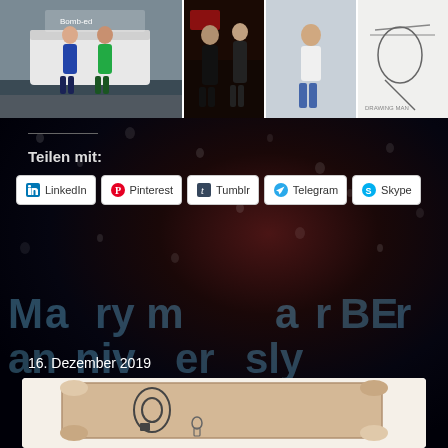[Figure (photo): Four photo panels at top: group of people by a van with 'Bomb-ed' sign, two people in dark clothing, person in white t-shirt, hand-drawn sketch on white background]
Teilen mit:
[Figure (infographic): Social share buttons: LinkedIn, Pinterest, Tumblr, Telegram, Skype]
[Figure (photo): Dark background with water droplets, teal watermark text overlay]
16. Dezember 2019
[Figure (photo): Partial image of an old parchment scroll at bottom of page]